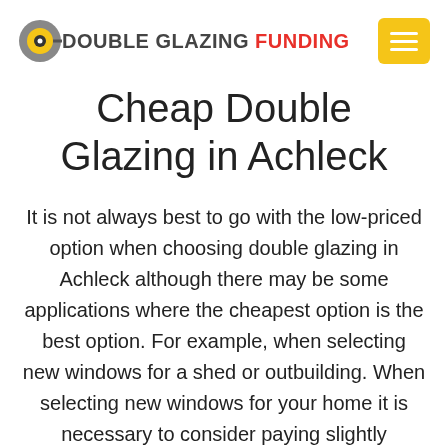[Figure (logo): Double Glazing Funding logo with icon and text, and a yellow hamburger menu button]
Cheap Double Glazing in Achleck
It is not always best to go with the low-priced option when choosing double glazing in Achleck although there may be some applications where the cheapest option is the best option. For example, when selecting new windows for a shed or outbuilding. When selecting new windows for your home it is necessary to consider paying slightly